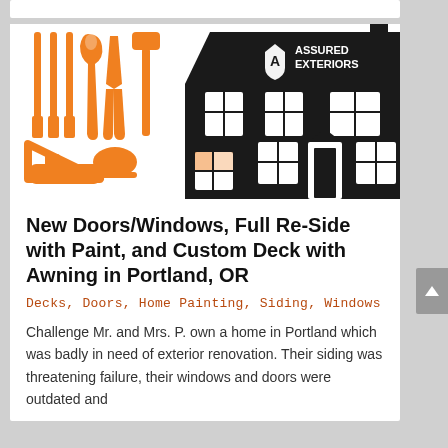[Figure (logo): Assured Exteriors company logo — black silhouette of a house with orange tools (screwdrivers, wrench, pliers, hammer, saw, triangle square, hand plane) on the left side, and a shield with letter A and text 'ASSURED EXTERIORS' on the roof of the house.]
New Doors/Windows, Full Re-Side with Paint, and Custom Deck with Awning in Portland, OR
Decks, Doors, Home Painting, Siding, Windows
Challenge Mr. and Mrs. P. own a home in Portland which was badly in need of exterior renovation. Their siding was threatening failure, their windows and doors were outdated and